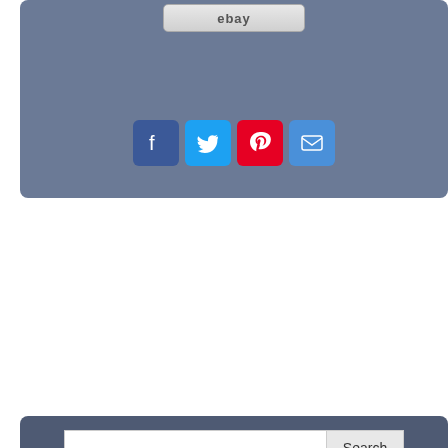[Figure (screenshot): eBay button at top of a social sharing panel with blue-grey background]
[Figure (infographic): Social sharing icons: Facebook (blue), Twitter (light blue), Pinterest (red), Email (blue)]
[Figure (screenshot): Search bar with text input and Search button on dark blue-grey background]
[Figure (infographic): Tag cloud with audio/amplifier related keywords: amplifier, crown, xli1500, watts, class, speaker, audio, only, channel, professional, powerlight, 900w, mixer, watt, tested, peavey, bryston, model, bluetooth, yamaha, studio]